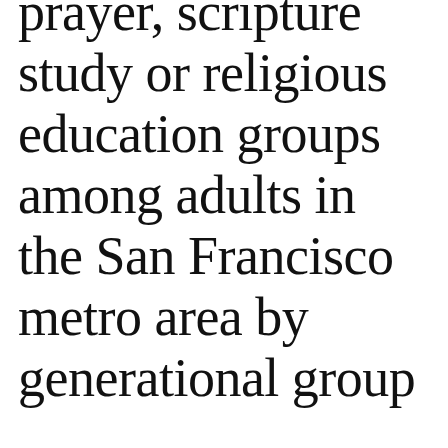prayer, scripture study or religious education groups among adults in the San Francisco metro area by generational group